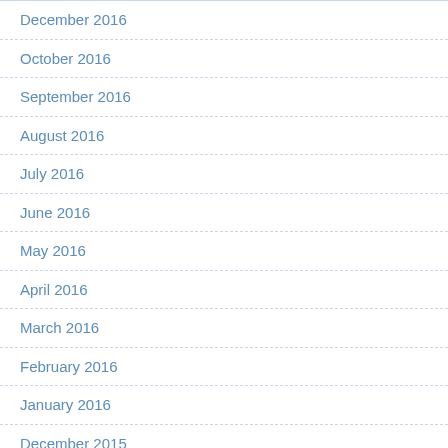December 2016
October 2016
September 2016
August 2016
July 2016
June 2016
May 2016
April 2016
March 2016
February 2016
January 2016
December 2015
November 2015
October 2015